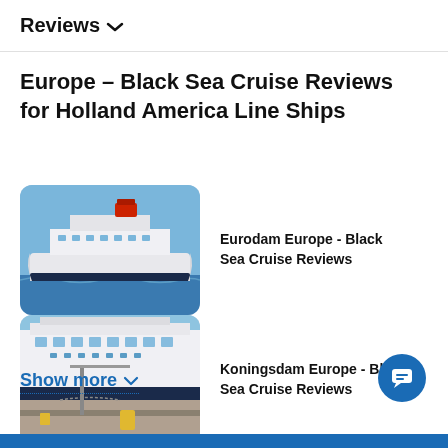Reviews ∨
Europe - Black Sea Cruise Reviews for Holland America Line Ships
Eurodam Europe - Black Sea Cruise Reviews
Koningsdam Europe - Black Sea Cruise Reviews
Show more ∨